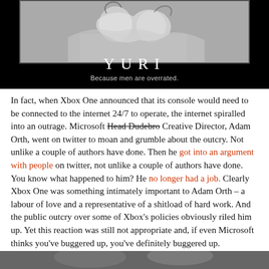[Figure (illustration): Black background image with manga-style anime artwork at top, showing grayscale illustration of two characters. Below the art in large white spaced letters: YURI. Subtitle in gray: Because men are overrated.]
In fact, when Xbox One announced that its console would need to be connected to the internet 24/7 to operate, the internet spiralled into an outrage. Microsoft Head Dudebro Creative Director, Adam Orth, went on twitter to moan and grumble about the outcry. Not unlike a couple of authors have done. Then he got into an argument with people on twitter, not unlike a couple of authors have done. You know what happened to him? He no longer had a job. Clearly Xbox One was something intimately important to Adam Orth – a labour of love and a representative of a shitload of hard work. And the public outcry over some of Xbox's policies obviously riled him up. Yet this reaction was still not appropriate and, if even Microsoft thinks you've buggered up, you've definitely buggered up.
See any parallels here? I know it's uncomfortable at first – like seeing two humanoids with kitty ears making out. It just looks wrong...
[Figure (photo): Partial image at bottom of page, cropped, appears to be another anime or manga illustration.]